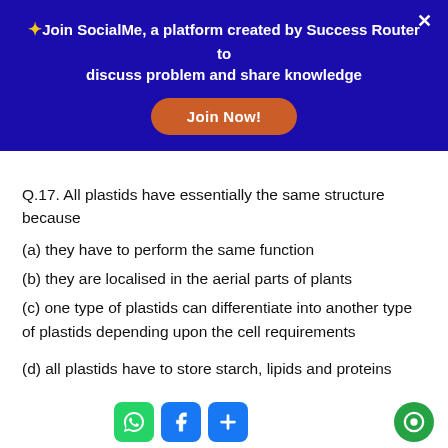[Figure (screenshot): Blue banner with SocialMe promotion: star icon, bold white text 'Join SocialMe, a platform created by Success Router to discuss problem and share knowledge', a Join Now! orange button, and white X close button]
Q.17. All plastids have essentially the same structure because
(a) they have to perform the same function
(b) they are localised in the aerial parts of plants
(c) one type of plastids can differentiate into another type of plastids depending upon the cell requirements
(d) all plastids have to store starch, lipids and proteins
Answer
[Figure (screenshot): Bottom bar with WhatsApp, Facebook, and plus social sharing icons, and a green chat bubble icon on the right]